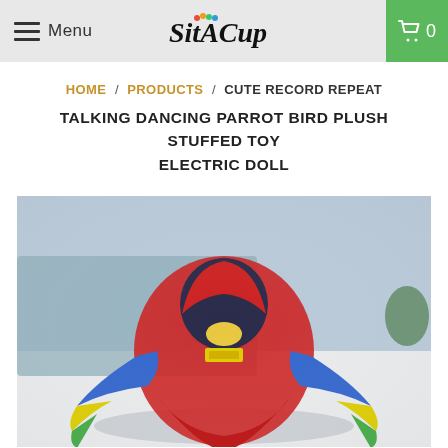Menu | SitACup | 0
HOME / PRODUCTS / CUTE RECORD REPEAT TALKING DANCING PARROT BIRD PLUSH STUFFED TOY ELECTRIC DOLL
CUTE RECORD REPEAT TALKING DANCING PARROT BIRD PLUSH STUFFED TOY ELECTRIC DOLL
[Figure (photo): Photo of a red parrot plush stuffed toy electric doll, shown from behind at an angle, with colorful wings spread out in blue, yellow and green. The toy is sitting on a white surface with a blue and white background.]